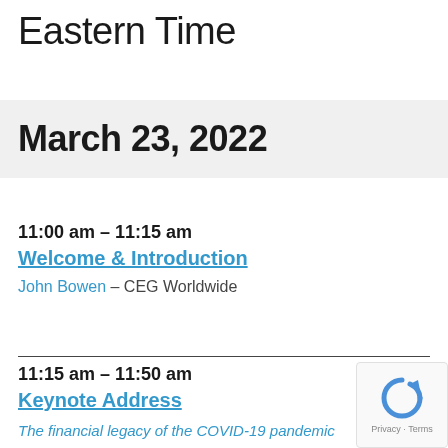Eastern Time
March 23, 2022
11:00 am – 11:15 am
Welcome & Introduction
John Bowen – CEG Worldwide
11:15 am – 11:50 am
Keynote Address
The financial legacy of the COVID-19 pandemic